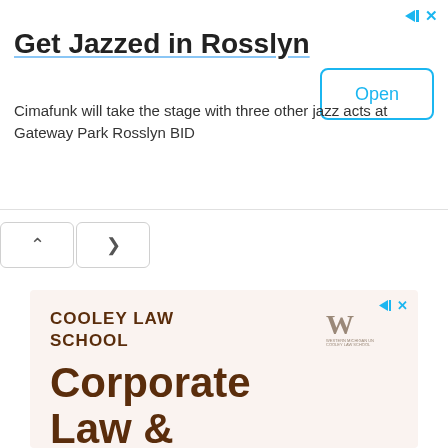[Figure (screenshot): Top advertisement banner: 'Get Jazzed in Rosslyn' with subtitle 'Cimafunk will take the stage with three other jazz acts at Gateway Park Rosslyn BID' and an Open button]
[Figure (screenshot): Navigation arrows (up/right) UI element]
[Figure (screenshot): Bottom advertisement for Cooley Law School featuring 'Corporate Law & Finance LLM' text on pink/cream background with Western Michigan University logo]